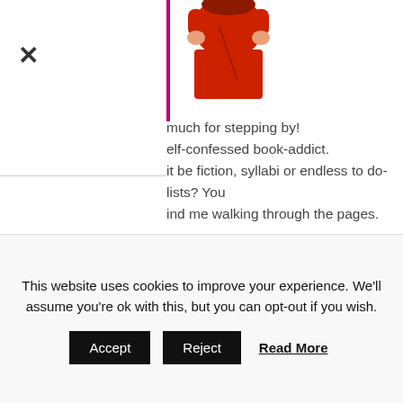[Figure (illustration): Cartoon illustration of a person in red clothing, partially cropped, with a purple vertical line on the left side]
much for stepping by! elf-confessed book-addict. it be fiction, syllabi or endless to do-lists? You ind me walking through the pages.
SUBSCRIBE
ess
This website uses cookies to improve your experience. We'll assume you're ok with this, but you can opt-out if you wish.
Accept  Reject  Read More